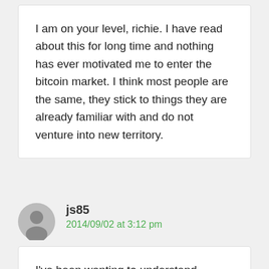I am on your level, richie. I have read about this for long time and nothing has ever motivated me to enter the bitcoin market. I think most people are the same, they stick to things they are already familiar with and do not venture into new territory.
js85
2014/09/02 at 3:12 pm
I've been wanting to understand Bitcoin and this is very helpful…